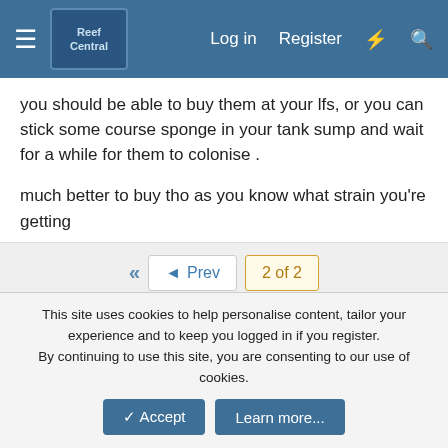Reef Central — Log in | Register
you should be able to buy them at your lfs, or you can stick some course sponge in your tank sump and wait for a while for them to colonise .
much better to buy tho as you know what strain you're getting
◄◄  ◄ Prev   2 of 2
You must log in or register to reply here.
Similar threads
Help me stock my tank upgrade?
SaltLifeCam · Reef Discussion
This site uses cookies to help personalise content, tailor your experience and to keep you logged in if you register.
By continuing to use this site, you are consenting to our use of cookies.